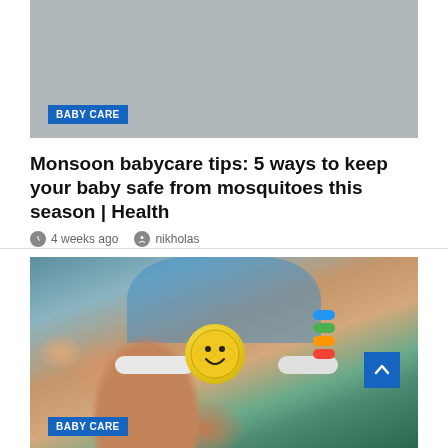[Figure (photo): Gray placeholder image for a baby care article]
BABY CARE
Monsoon babycare tips: 5 ways to keep your baby safe from mosquitoes this season | Health
4 weeks ago   nikholas
[Figure (photo): Close-up photo of a baby's arm holding a yellow smiley-face toy with colorful rings and a blue background]
BABY CARE